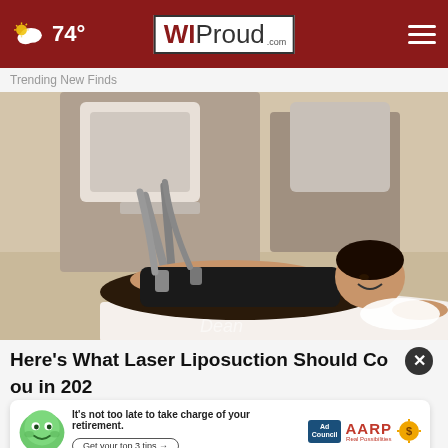74° WI Proud .com
Trending New Finds
[Figure (photo): Woman lying on a treatment table receiving laser liposuction procedure, with mechanical arms and tubes attached to her midsection, smiling slightly, in a clinical setting.]
Here's What Laser Liposuction Should Cost You in 2024
[Figure (infographic): AARP advertisement: It's not too late to take charge of your retirement. Get your top 3 tips. Ad Council / AARP Real Possibilities.]
Lipo s...